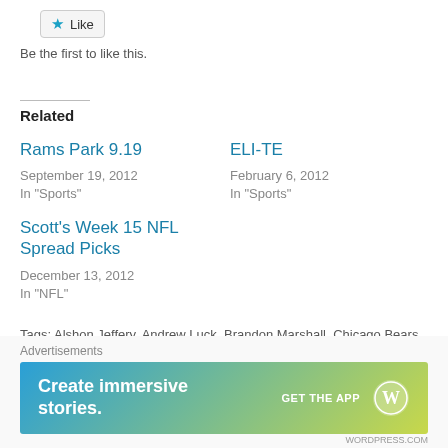[Figure (other): Like button with blue star icon]
Be the first to like this.
Related
Rams Park 9.19
September 19, 2012
In "Sports"
ELI-TE
February 6, 2012
In "Sports"
Scott's Week 15 NFL Spread Picks
December 13, 2012
In "NFL"
Tags: Alshon Jeffery, Andrew Luck, Brandon Marshall, Chicago Bears, David Wilson, Drew Brees, Jay Cutler, Kevin Kolb, NFL, NFL Week 14, Russell Wilson
[Figure (other): WordPress advertisement banner: Create immersive stories. GET THE APP with WordPress logo]
Advertisements